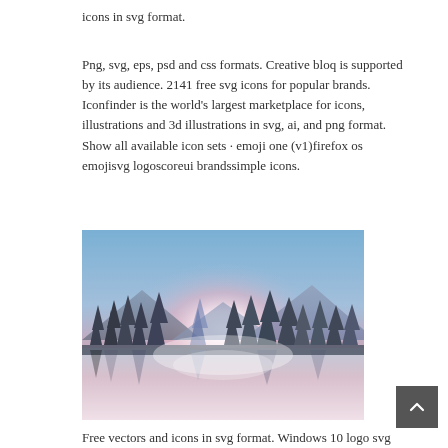icons in svg format.
Png, svg, eps, psd and css formats. Creative bloq is supported by its audience. 2141 free svg icons for popular brands. Iconfinder is the world's largest marketplace for icons, illustrations and 3d illustrations in svg, ai, and png format. Show all available icon sets · emoji one (v1)firefox os emojisvg logoscoreui brandssimple icons.
[Figure (illustration): A stylized sunset landscape illustration showing silhouettes of pine trees against a pink and blue gradient sky with a glowing sun, reflected in water below.]
Free vectors and icons in svg format. Windows 10 logo svg